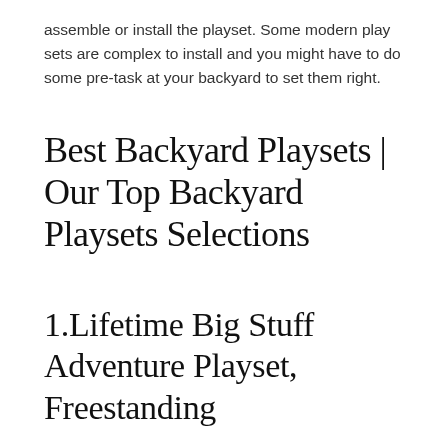assemble or install the playset. Some modern play sets are complex to install and you might have to do some pre-task at your backyard to set them right.
Best Backyard Playsets | Our Top Backyard Playsets Selections
1.Lifetime Big Stuff Adventure Playset, Freestanding